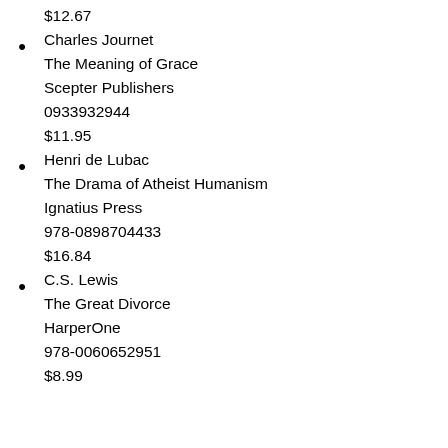$12.67
Charles Journet
The Meaning of Grace
Scepter Publishers
0933932944
$11.95
Henri de Lubac
The Drama of Atheist Humanism
Ignatius Press
978-0898704433
$16.84
C.S. Lewis
The Great Divorce
HarperOne
978-0060652951
$8.99